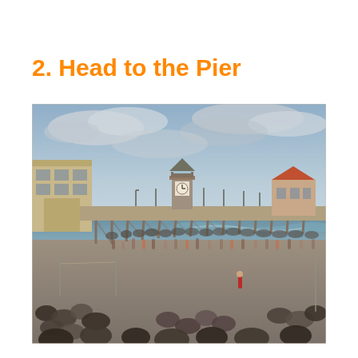2. Head to the Pier
[Figure (photo): Crowded beach scene at Huntington Beach Pier showing the pier extending into the ocean, with a clock tower and pavilion structure visible on the pier, large crowds of people on the beach in the foreground, overcast sky, and a building on the left side.]